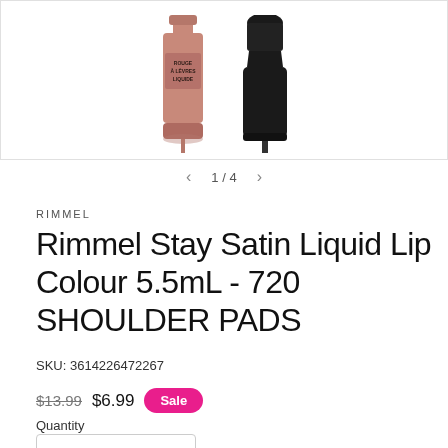[Figure (photo): Two lip colour bottles side by side — a pink/rose bottle labeled 'ROUGE A LEVRES LIQUIDE' and a dark/black bottle]
1 / 4
RIMMEL
Rimmel Stay Satin Liquid Lip Colour 5.5mL - 720 SHOULDER PADS
SKU: 3614226472267
$13.99  $6.99  Sale
Quantity
1